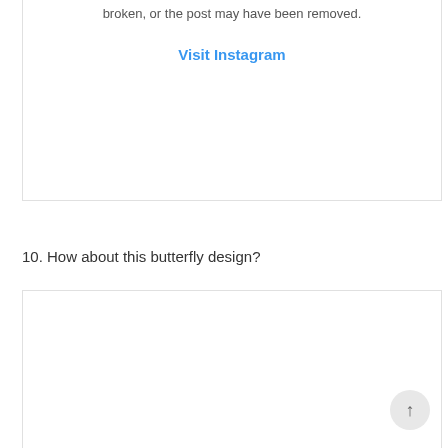broken, or the post may have been removed.
Visit Instagram
10. How about this butterfly design?
[Figure (screenshot): Empty Instagram embed box]